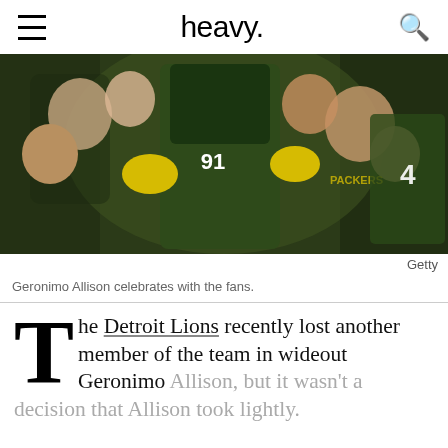heavy.
[Figure (photo): Green Bay Packers player Geronimo Allison in green and yellow uniform with yellow gloves celebrating with fans in the stands, crowd cheering around him]
Getty
Geronimo Allison celebrates with the fans.
The Detroit Lions recently lost another member of the team in wideout Geronimo Allison, but it wasn't a decision that Allison took lightly.